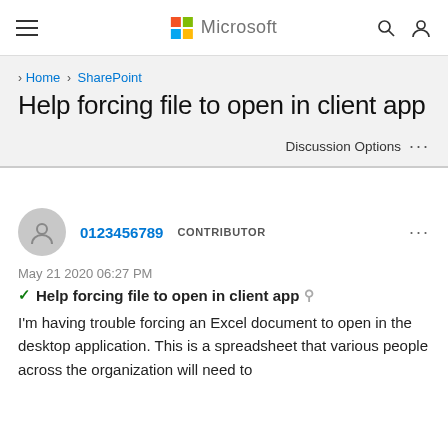Microsoft
> Home > SharePoint
Help forcing file to open in client app
Discussion Options ...
0123456789   CONTRIBUTOR   ...
May 21 2020 06:27 PM
Help forcing file to open in client app
I'm having trouble forcing an Excel document to open in the desktop application. This is a spreadsheet that various people across the organization will need to